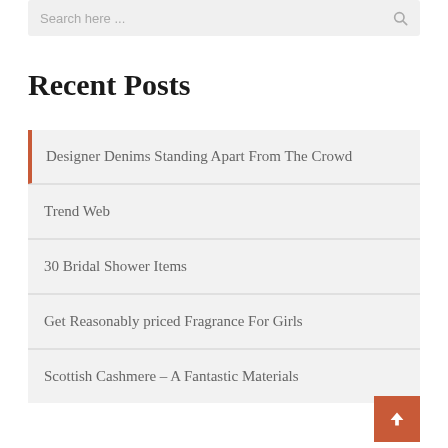Search here ...
Recent Posts
Designer Denims Standing Apart From The Crowd
Trend Web
30 Bridal Shower Items
Get Reasonably priced Fragrance For Girls
Scottish Cashmere – A Fantastic Materials